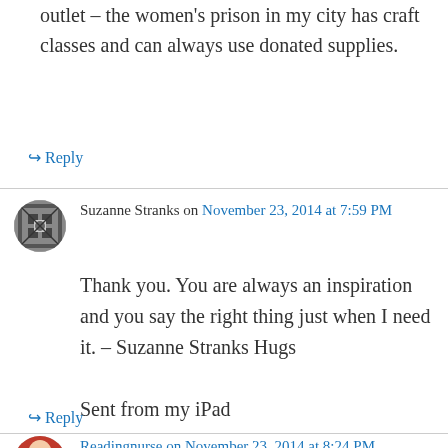outlet – the women's prison in my city has craft classes and can always use donated supplies.
↳ Reply
Suzanne Stranks on November 23, 2014 at 7:59 PM
Thank you. You are always an inspiration and you say the right thing just when I need it. – Suzanne Stranks Hugs

Sent from my iPad

>
↳ Reply
Readingnurse on November 23, 2014 at 8:24 PM